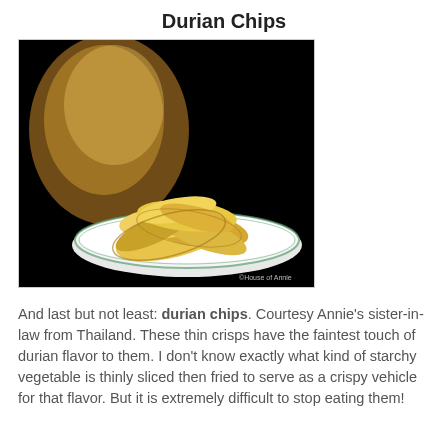Durian Chips
[Figure (photo): Photo of durian chips: a bag of chips in the background and a white plate with thin golden crispy durian chips in the foreground on a black background. Watermark reads ©House of Annie.]
And last but not least: durian chips. Courtesy Annie's sister-in-law from Thailand. These thin crisps have the faintest touch of durian flavor to them. I don't know exactly what kind of starchy vegetable is thinly sliced then fried to serve as a crispy vehicle for that flavor. But it is extremely difficult to stop eating them!